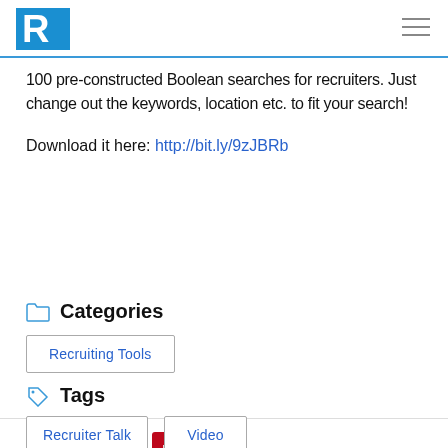R [logo]
100 pre-constructed Boolean searches for recruiters. Just change out the keywords, location etc. to fit your search!
Download it here: http://bit.ly/9zJBRb
Categories
Recruiting Tools
Tags
Recruiter Talk
Video